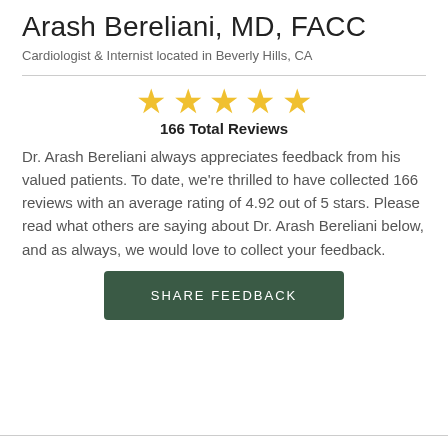Arash Bereliani, MD, FACC
Cardiologist & Internist located in Beverly Hills, CA
166 Total Reviews
Dr. Arash Bereliani always appreciates feedback from his valued patients. To date, we're thrilled to have collected 166 reviews with an average rating of 4.92 out of 5 stars. Please read what others are saying about Dr. Arash Bereliani below, and as always, we would love to collect your feedback.
SHARE FEEDBACK